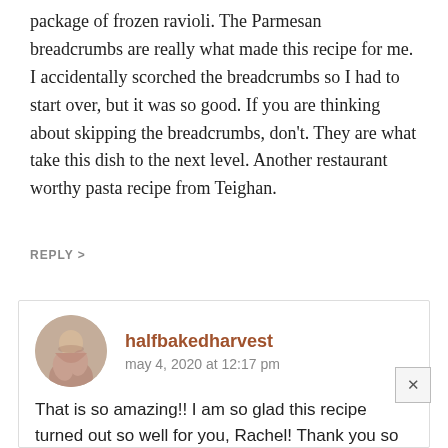package of frozen ravioli. The Parmesan breadcrumbs are really what made this recipe for me. I accidentally scorched the breadcrumbs so I had to start over, but it was so good. If you are thinking about skipping the breadcrumbs, don't. They are what take this dish to the next level. Another restaurant worthy pasta recipe from Teighan.
REPLY >
halfbakedharvest
may 4, 2020 at 12:17 pm
That is so amazing!! I am so glad this recipe turned out so well for you, Rachel! Thank you so much for trying this one! I hope you continue to enjoy others as well! xTieghan